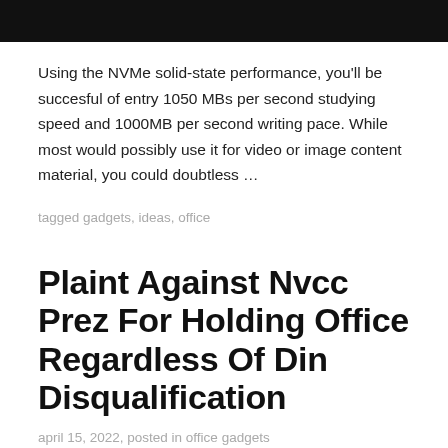[Figure (photo): Black bar image at the top of the page]
Using the NVMe solid-state performance, you'll be succesful of entry 1050 MBs per second studying speed and 1000MB per second writing pace. While most would possibly use it for video or image content material, you could doubtless …
tagged gadgets, ideas, office
Plaint Against Nvcc Prez For Holding Office Regardless Of Din Disqualification
april 15, 2022, posted in office gadgets